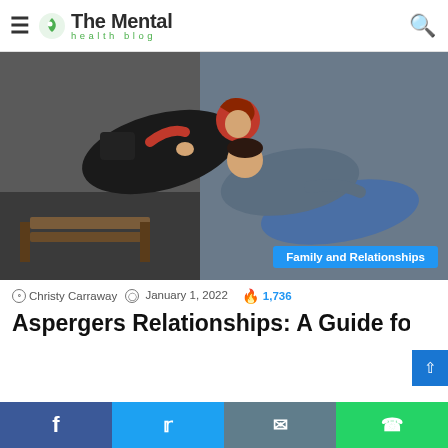The Mental Health Blog
[Figure (photo): A young couple lying on the ground facing each other, black and white moody photo with a category badge reading 'Family and Relationships']
Christy Carraway  January 1, 2022  1,736
Aspergers Relationships: A Guide for th